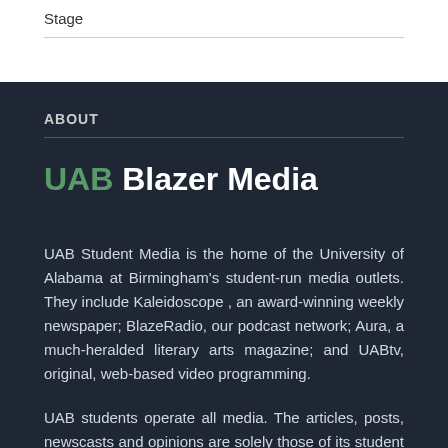Stage
ABOUT
UAB Blazer Media
UAB Student Media is the home of the University of Alabama at Birmingham's student-run media outlets. They include Kaleidoscope , an award-winning weekly newspaper; BlazeRadio, our podcast network; Aura, a much-heralded literary arts magazine; and UABtv, original, web-based video programming.
UAB students operate all media. The articles, posts, newscasts and opinions are solely those of its student writers, producers